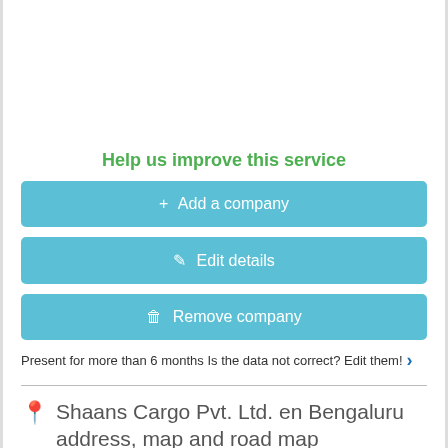Help us improve this service
+ Add a company
✎ Edit details
🗑 Remove company
Present for more than 6 months Is the data not correct? Edit them! ›
Shaans Cargo Pvt. Ltd. en Bengaluru address, map and road map